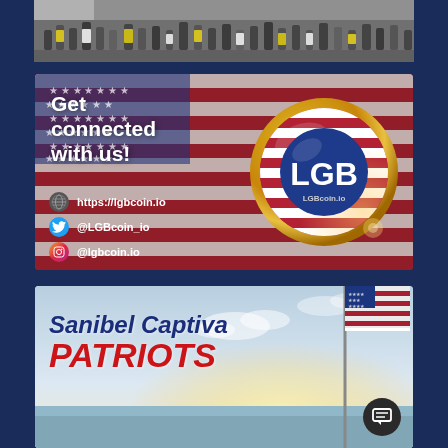[Figure (photo): Crowd of people photo strip at top]
[Figure (illustration): LGBcoin.io promotional banner with 'Get connected with us!' text, website https://lgbcoin.io, Twitter @LGBcoin_io, Instagram @lgbcoin.io, and LGB gold coin logo]
[Figure (illustration): Sanibel Captiva PATRIOTS banner with American flag and beach/sky background]